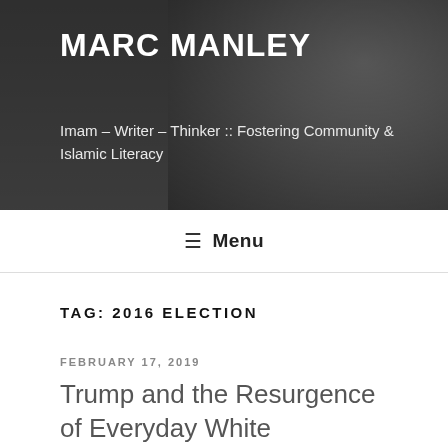MARC MANLEY
Imam – Writer – Thinker :: Fostering Community & Islamic Literacy
≡ Menu
TAG: 2016 ELECTION
FEBRUARY 17, 2019
Trump and the Resurgence of Everyday White Aggression